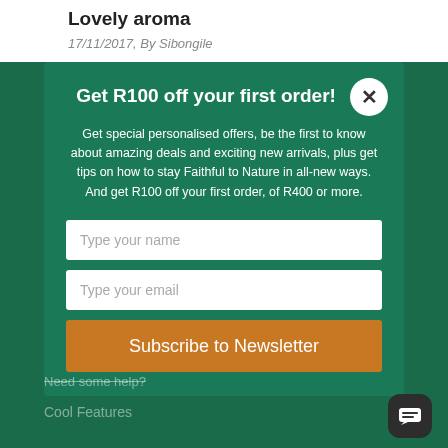Lovely aroma
17/11/2017, By Sibongile
Get R100 off your first order!
Get special personalised offers, be the first to know about amazing deals and exciting new arrivals, plus get tips on how to stay Faithful to Nature in all-new ways. And get R100 off your first order, of R400 or more.
Type your name
Type your email
Subscribe to Newsletter
Need some help?
Cool Features